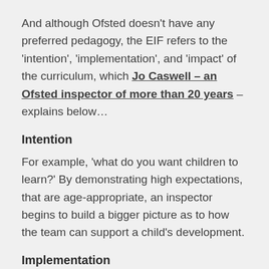And although Ofsted doesn't have any preferred pedagogy, the EIF refers to the 'intention', 'implementation', and 'impact' of the curriculum, which Jo Caswell – an Ofsted inspector of more than 20 years – explains below…
Intention
For example, 'what do you want children to learn?' By demonstrating high expectations, that are age-appropriate, an inspector begins to build a bigger picture as to how the team can support a child's development.
Implementation
Covering the activities that are being provided and the learning environment created, the